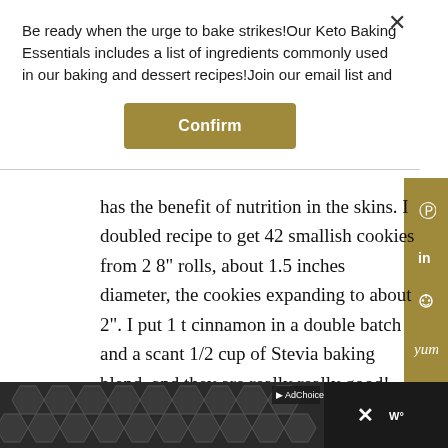Be ready when the urge to bake strikes!Our Keto Baking Essentials includes a list of ingredients commonly used in our baking and dessert recipes!Join our email list and
Confirm
has the benefit of nutrition in the skins. I doubled recipe to get 42 smallish cookies from 2 8" rolls, about 1.5 inches diameter, the cookies expanding to about 2". I put 1 t cinnamon in a double batch and a scant 1/2 cup of Stevia baking blend, and they are really really good! Cinnamon really
[Figure (other): Advertisement banner with geometric hexagonal pattern in gray, adchoices icon, and close button with Yummly logo]